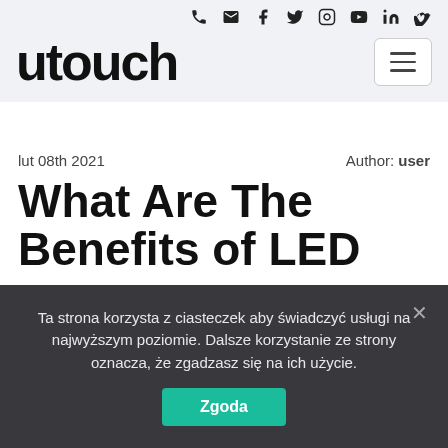utouch — website header with social icons and navigation
lut 08th 2021   Author: user
What Are The Benefits of LED
Ta strona korzysta z ciasteczek aby świadczyć usługi na najwyższym poziomie. Dalsze korzystanie ze strony oznacza, że zgadzasz się na ich użycie.